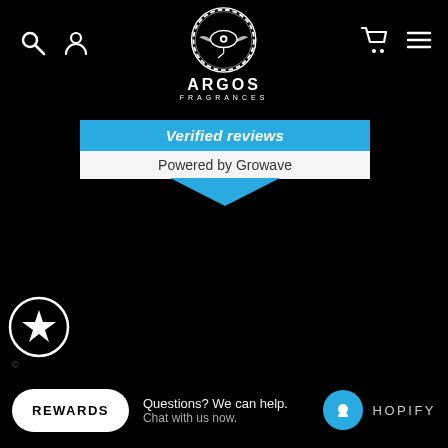[Figure (logo): Argos Fragrances logo: circular emblem with Eye of Horus design on black background, with text ARGOS FRAGRANCES below]
Verified reviews
Powered by Growave
[Figure (illustration): Star icon inside a white-bordered black circle]
USD $ ∨
REWARDS
Questions? We can help. Chat with us now.
[Figure (illustration): Blue circle with white speech bubble icon]
HOPIFY